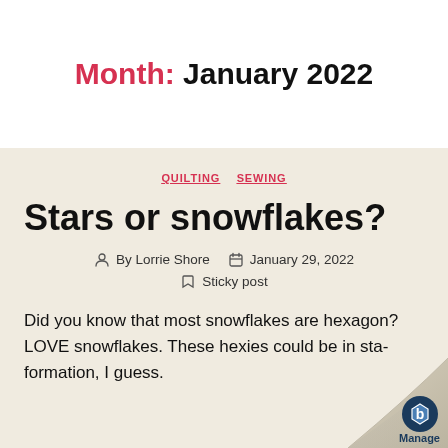Month: January 2022
QUILTING  SEWING
Stars or snowflakes?
By Lorrie Shore   January 29, 2022   Sticky post
Did you know that most snowflakes are hexagon? LOVE snowflakes. These hexies could be in sta formation, I guess.